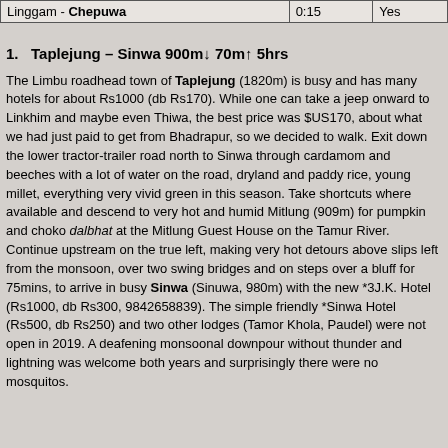| Linggam - Chepuwa | 0:15 | Yes |
1.   Taplejung – Sinwa 900m↓ 70m↑ 5hrs
The Limbu roadhead town of Taplejung (1820m) is busy and has many hotels for about Rs1000 (db Rs170). While one can take a jeep onward to Linkhim and maybe even Thiwa, the best price was $US170, about what we had just paid to get from Bhadrapur, so we decided to walk. Exit down the lower tractor-trailer road north to Sinwa through cardamom and beeches with a lot of water on the road, dryland and paddy rice, young millet, everything very vivid green in this season. Take shortcuts where available and descend to very hot and humid Mitlung (909m) for pumpkin and choko dalbhat at the Mitlung Guest House on the Tamur River. Continue upstream on the true left, making very hot detours above slips left from the monsoon, over two swing bridges and on steps over a bluff for 75mins, to arrive in busy Sinwa (Sinuwa, 980m) with the new *3J.K. Hotel (Rs1000, db Rs300, 9842658839). The simple friendly *Sinwa Hotel (Rs500, db Rs250) and two other lodges (Tamor Khola, Paudel) were not open in 2019. A deafening monsoonal downpour without thunder and lightning was welcome both years and surprisingly there were no mosquitos.